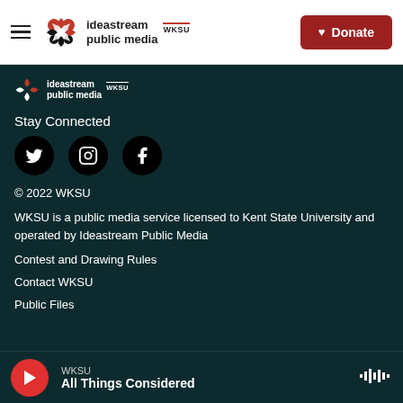[Figure (logo): ideastream public media WKSU logo with hamburger menu and red Donate button in white navigation bar]
[Figure (logo): ideastream public media WKSU logo in white on dark teal footer background]
Stay Connected
[Figure (illustration): Three black circular social media icons: Twitter, Instagram, Facebook]
© 2022 WKSU
WKSU is a public media service licensed to Kent State University and operated by Ideastream Public Media
Contest and Drawing Rules
Contact WKSU
Public Files
[Figure (other): Audio player bar with red play button, WKSU station label, All Things Considered show title, and waveform icon]